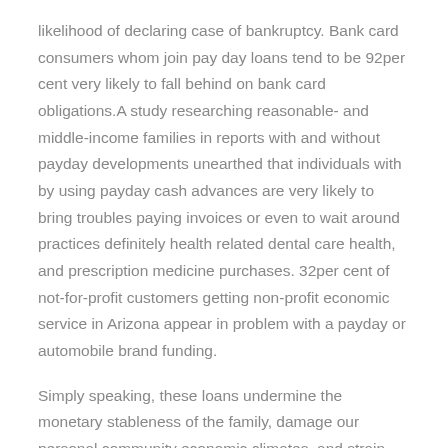likelihood of declaring case of bankruptcy. Bank card consumers whom join pay day loans tend to be 92per cent very likely to fall behind on bank card obligations.A study researching reasonable- and middle-income families in reports with and without payday developments unearthed that individuals with by using payday cash advances are very likely to bring troubles paying invoices or even to wait around practices definitely health related dental care health, and prescription medicine purchases. 32per cent of not-for-profit customers getting non-profit economic service in Arizona appear in problem with a payday or automobile brand funding.
Simply speaking, these loans undermine the monetary stableness of the family, damage our personal community economic climates, and strain non-profit guides.